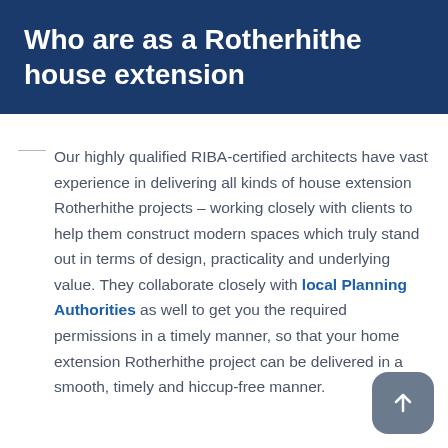Who are as a Rotherhithe house extension
Our highly qualified RIBA-certified architects have vast experience in delivering all kinds of house extension Rotherhithe projects – working closely with clients to help them construct modern spaces which truly stand out in terms of design, practicality and underlying value. They collaborate closely with local Planning Authorities as well to get you the required permissions in a timely manner, so that your home extension Rotherhithe project can be delivered in a smooth, timely and hiccup-free manner.